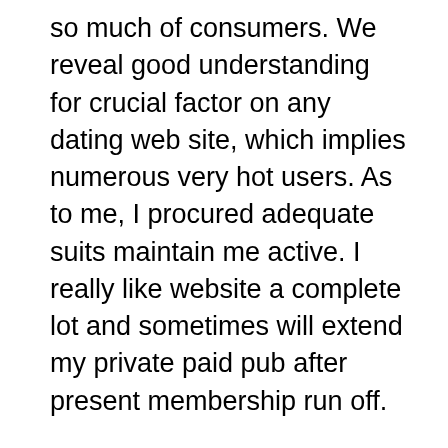so much of consumers. We reveal good understanding for crucial factor on any dating web site, which implies numerous very hot users. As to me, I procured adequate suits maintain me active. I really like website a complete lot and sometimes will extend my private paid pub after present membership run off.
Thus, I'd advocate they to every one anyone in search of premium fits. Echat allows members to see who is on-line, and that's represented by a tiny, circular, and green image. You can then select to ship a message to any of those customers and begin a conversation. You can't “like” another user’s profile on Echat. For most, if not all, courting websites, you can't sign up until